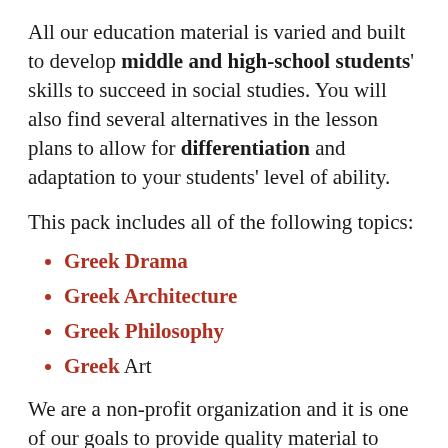All our education material is varied and built to develop middle and high-school students' skills to succeed in social studies. You will also find several alternatives in the lesson plans to allow for differentiation and adaptation to your students' level of ability.
This pack includes all of the following topics:
Greek Drama
Greek Architecture
Greek Philosophy
Greek Art
We are a non-profit organization and it is one of our goals to provide quality material to teachers by building engaging courses and finding reliable sources. If you are at risk in any way of a lost...